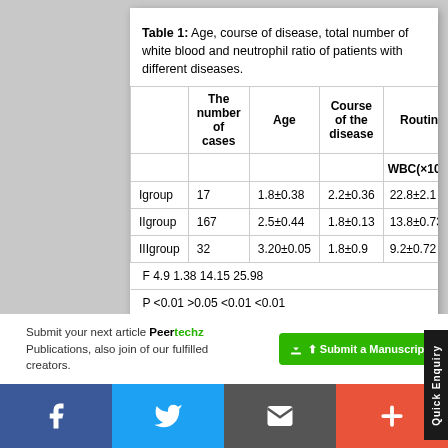Table 1: Age, course of disease, total number of white blood and neutrophil ratio of patients with different diseases.
|  | The number of cases | Age | Course of the disease | WBC(×109/L) | N(%) |
| --- | --- | --- | --- | --- | --- |
| Igroup | 17 | 1.8±0.38 | 2.2±0.36 | 22.8±2.1 | 88. |
| IIgroup | 167 | 2.5±0.44 | 1.8±0.13 | 13.8±0.73 | 72. |
| IIIgroup | 32 | 3.20±0.05 | 1.8±0.9 | 9.2±0.72 | 65. |
| F | 4.9 | 1.38 | 14.15 | 25.98 |  |
| P | <0.01 | >0.05 | <0.01 | <0.01 |  |
Submit your next article Peertechz Publications, also join of our fulfilled creators.
[Figure (infographic): Social media share bar with Facebook, Twitter, email, and plus buttons]